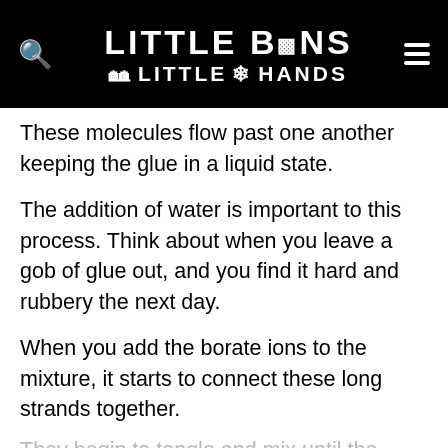LITTLE BINS LITTLE HANDS
These molecules flow past one another keeping the glue in a liquid state.
The addition of water is important to this process. Think about when you leave a gob of glue out, and you find it hard and rubbery the next day.
When you add the borate ions to the mixture, it starts to connect these long strands together.
They begin to tangle and mix until the substance is less like the liquid you started with